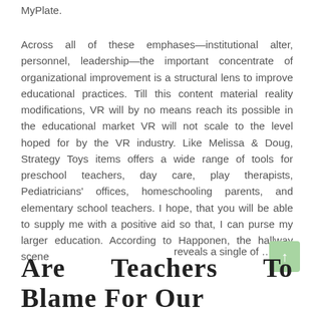MyPlate.
Across all of these emphases—institutional alter, personnel, leadership—the important concentrate of organizational improvement is a structural lens to improve educational practices. Till this content material reality modifications, VR will by no means reach its possible in the educational market VR will not scale to the level hoped for by the VR industry. Like Melissa & Doug, Strategy Toys items offers a wide range of tools for preschool teachers, day care, play therapists, Pediatricians' offices, homeschooling parents, and elementary school teachers. I hope, that you will be able to supply me with a positive aid so that, I can purse my larger education. According to Happonen, the hallway scene reveals a single of …
Read More
Are Teachers To Blame For Our